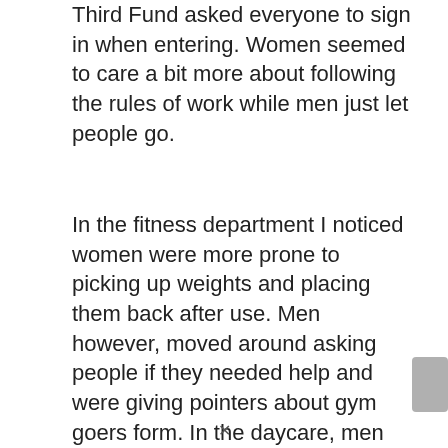Third Fund asked everyone to sign in when entering. Women seemed to care a bit more about following the rules of work while men just let people go.
In the fitness department I noticed women were more prone to picking up weights and placing them back after use. Men however, moved around asking people if they needed help and were giving pointers about gym goers form. In the daycare, men were more likely to just be on their phones or talk to their coworkers while the females watching the children in tandem to whatever they were doing. In the pool, more men were employed but in this regard women were more lax about pool rules then men were. Guys